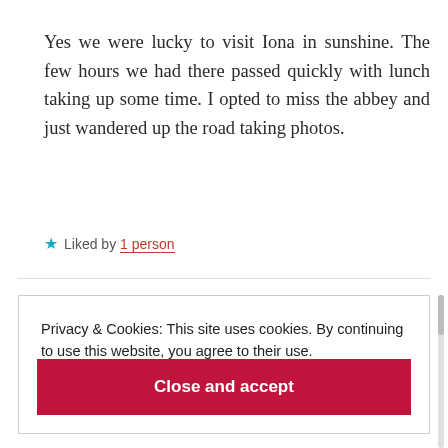Yes we were lucky to visit Iona in sunshine. The few hours we had there passed quickly with lunch taking up some time. I opted to miss the abbey and just wandered up the road taking photos.
★ Liked by 1 person
Privacy & Cookies: This site uses cookies. By continuing to use this website, you agree to their use. To find out more, including how to control cookies, see here: Cookie Policy
Close and accept